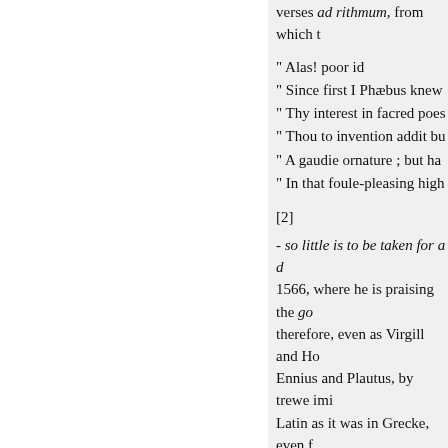verses ad rithmum, from which t
" Alas! poor id
" Since first I Phæbus knew
" Thy interest in facred poes
" Thou to invention addit bu
" A gaudie ornature ; but ha
" In that foule-pleasing high
[2]
- so little is to be taken for a d 1566, where he is praising the go therefore, even as Virgill and Ho Ennius and Plautus, by trewe imi Latin as it was in Grecke, even f rather thankes thun disprayse." S neglect of rime," we observe, has fame of Milton, has been commu perhaps the first attempt of the k redoubled luftre. To this succeed Opera, in 1679; afterwards publi is said by one of his eulogists, ia
« Previous